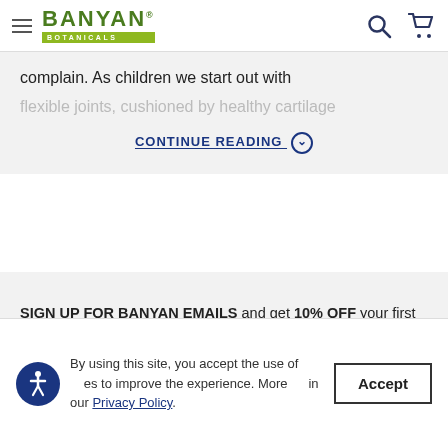Banyan Botanicals
complain. As children we start out with flexible joints, cushioned by healthy cartilage
CONTINUE READING ⊙
SIGN UP FOR BANYAN EMAILS and get 10% OFF your first order, plus be the first to know about upcoming sales, product launches, and all things Ayurveda.
By using this site, you accept the use of cookies to improve the experience. More information in our Privacy Policy.